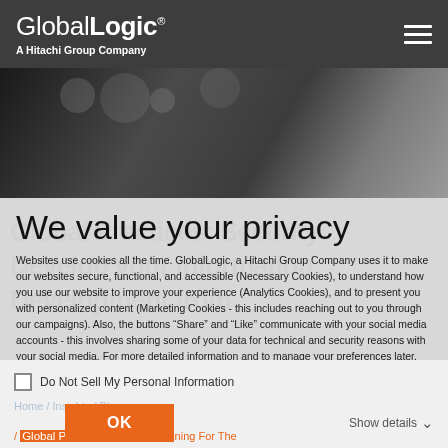GlobalLogic® A Hitachi Group Company
[Figure (photo): Dark blurred background photo of a woman's face, used as hero image behind privacy notice]
We value your privacy
Websites use cookies all the time. GlobalLogic, a Hitachi Group Company uses it to make our websites secure, functional, and accessible (Necessary Cookies), to understand how you use our website to improve your experience (Analytics Cookies), and to present you with personalized content (Marketing Cookies - this includes reaching out to you through our campaigns). Also, the buttons “Share” and “Like” communicate with your social media accounts - this involves sharing some of your data for technical and security reasons with your social media. For more detailed information and to manage your preferences later, please see our Cookies Policy.
Do Not Sell My Personal Information
Home / Insights / Blogs / Global Practices: Security Training For The...
OK
Show details